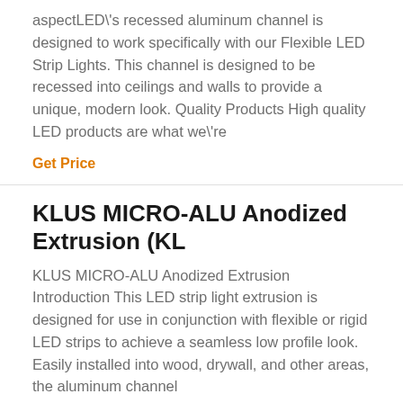aspectLED\'s recessed aluminum channel is designed to work specifically with our Flexible LED Strip Lights. This channel is designed to be recessed into ceilings and walls to provide a unique, modern look. Quality Products High quality LED products are what we\'re
Get Price
KLUS MICRO-ALU Anodized Extrusion (KL
KLUS MICRO-ALU Anodized Extrusion Introduction This LED strip light extrusion is designed for use in conjunction with flexible or rigid LED strips to achieve a seamless low profile look. Easily installed into wood, drywall, and other areas, the aluminum channel
Get Price
Stair Nosing LED Strip Profiles - Topsund
Mounted on the edge of a suitable step, led stair uplight